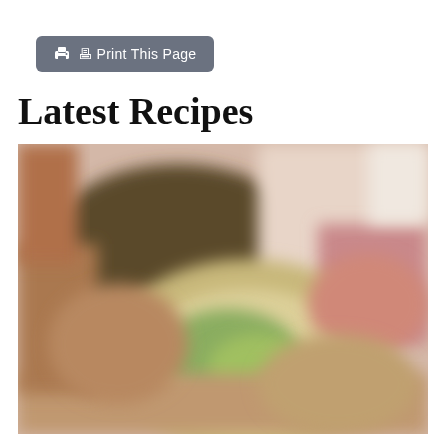[Figure (other): Gray rounded button with printer icon and text 'Print This Page']
Latest Recipes
[Figure (photo): Blurred close-up food photo showing a bowl or plate with green and brown food items, reddish background elements, warm tones]